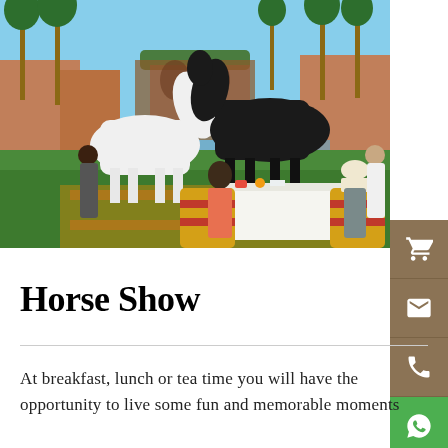[Figure (photo): Outdoor dining scene at a luxury Moroccan resort with a white horse sculpture and a black horse in the background, two guests seated at a table with a white tablecloth, palm trees and a reflecting pool visible, ornate terracotta buildings in the background.]
Horse Show
At breakfast, lunch or tea time you will have the opportunity to live some fun and memorable moments